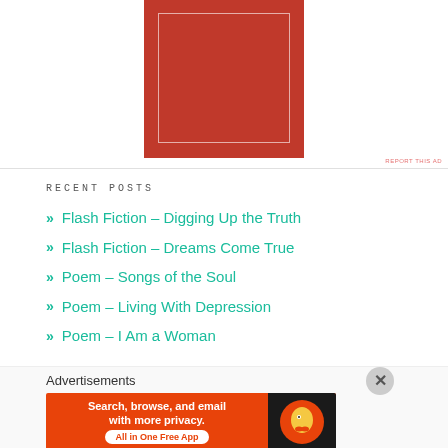[Figure (illustration): Red advertisement box with inner white border outline on white background, with REPORT THIS AD text below]
RECENT POSTS
» Flash Fiction – Digging Up the Truth
» Flash Fiction – Dreams Come True
» Poem – Songs of the Soul
» Poem – Living With Depression
» Poem – I Am a Woman
Advertisements
[Figure (screenshot): DuckDuckGo advertisement banner: Search, browse, and email with more privacy. All in One Free App. With duck logo on dark right panel.]